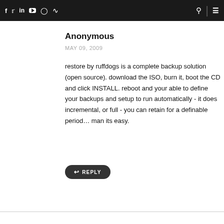f  t  in  yt  inst  rss  [search]  [menu]
Anonymous
MAY 09, 2009
restore by ruffdogs is a complete backup solution (open source). download the ISO, burn it, boot the CD and click INSTALL. reboot and your able to define your backups and setup to run automatically - it does incremental, or full - you can retain for a definable period… man its easy.
REPLY